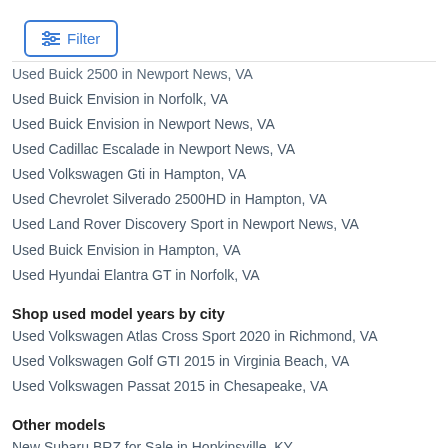[Figure (other): Filter button with sliders icon and blue border]
Used Buick 2500 in Newport News, VA (partially clipped)
Used Buick Envision in Norfolk, VA
Used Buick Envision in Newport News, VA
Used Cadillac Escalade in Newport News, VA
Used Volkswagen Gti in Hampton, VA
Used Chevrolet Silverado 2500HD in Hampton, VA
Used Land Rover Discovery Sport in Newport News, VA
Used Buick Envision in Hampton, VA
Used Hyundai Elantra GT in Norfolk, VA
Shop used model years by city
Used Volkswagen Atlas Cross Sport 2020 in Richmond, VA
Used Volkswagen Golf GTI 2015 in Virginia Beach, VA
Used Volkswagen Passat 2015 in Chesapeake, VA
Other models
New Subaru BRZ for Sale in Hopkinsville, KY
New BMW Alpine Xb7 for Sale in Bellevue, NE (partially clipped)